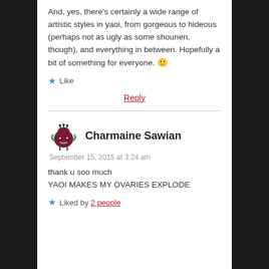And, yes, there's certainly a wide range of artistic styles in yaoi, from gorgeous to hideous (perhaps not as ugly as some shounen, though), and everything in between. Hopefully a bit of something for everyone. 🙂
★ Like
Reply
Charmaine Sawian
September 15, 2015 at 3:24 am
thank u soo much
YAOI MAKES MY OVARIES EXPLODE
★ Liked by 2 people